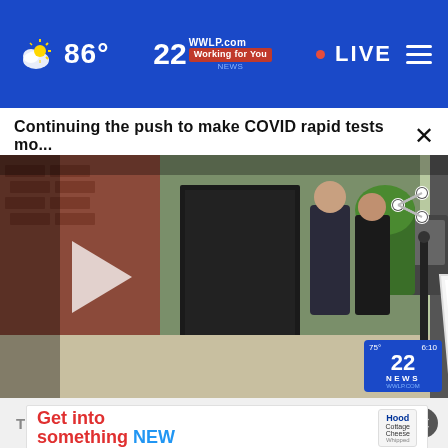86° WWLP.com Working for You • LIVE
Continuing the push to make COVID rapid tests mo...
[Figure (screenshot): Video player showing people outside a Springfield Pharmacy with a sign reading 'NOW OPEN FOR RAPID COVID TESTING Monday - Friday 10am - 2pm'. A play button is visible on the left side and channel 22 NEWS logo is in the bottom right corner.]
The Sneakers for Standing All Day
Get into something NEW